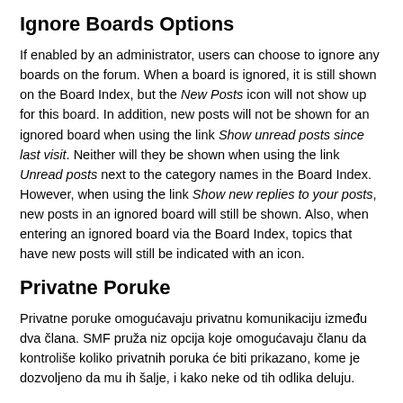Ignore Boards Options
If enabled by an administrator, users can choose to ignore any boards on the forum. When a board is ignored, it is still shown on the Board Index, but the New Posts icon will not show up for this board. In addition, new posts will not be shown for an ignored board when using the link Show unread posts since last visit. Neither will they be shown when using the link Unread posts next to the category names in the Board Index. However, when using the link Show new replies to your posts, new posts in an ignored board will still be shown. Also, when entering an ignored board via the Board Index, topics that have new posts will still be indicated with an icon.
Privatne Poruke
Privatne poruke omogućavaju privatnu komunikaciju između dva člana. SMF pruža niz opcija koje omogućavaju članu da kontroliše koliko privatnih poruka će biti prikazano, kome je dozvoljeno da mu ih šalje, i kako neke od tih odlika deluju.
Prve dve opcije upućuju kako su privatne poruke prikazane. Ako je član izabrao Sve odjednom, spisak poruka se prikazuje na vrhu sa svim porukama prikazanim ispod liste. Odabir jedna po